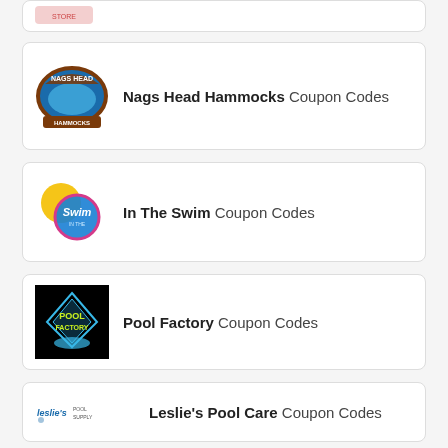[Figure (logo): Partial view of a store logo at top of page]
Nags Head Hammocks Coupon Codes
In The Swim Coupon Codes
Pool Factory Coupon Codes
Leslie's Pool Care Coupon Codes